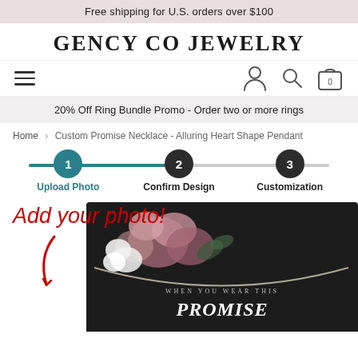Free shipping for U.S. orders over $100
GENCY CO JEWELRY
20% Off Ring Bundle Promo - Order two or more rings
Home > Custom Promise Necklace - Alluring Heart Shape Pendant
1 Upload Photo   2 Confirm Design   3 Customization
[Figure (photo): Jewelry product photo showing a necklace in a dark gift box with floral decoration and text 'WHEN YOU WEAR THIS PROMISE'. Red handwritten-style 'Add your photo!' annotation with arrow overlay.]